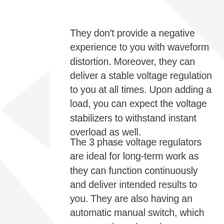They don't provide a negative experience to you with waveform distortion. Moreover, they can deliver a stable voltage regulation to you at all times. Upon adding a load, you can expect the voltage stabilizers to withstand instant overload as well.
The 3 phase voltage regulators are ideal for long-term work as they can function continuously and deliver intended results to you. They are also having an automatic manual switch, which you can trigger based on your requirements. One of the most impressive facts about these voltage regulators is the over voltage...